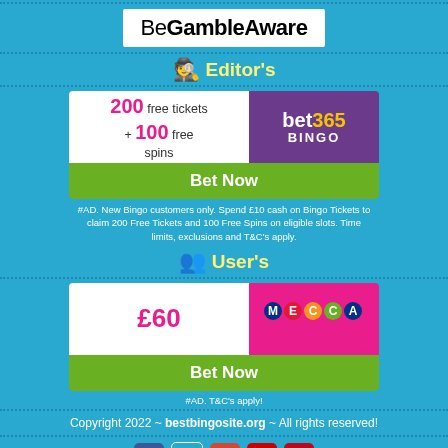[Figure (logo): BeGambleAware logo in white box]
Editor's
[Figure (infographic): Bet365 Bingo offer card: 200 free tickets + 100 free spins, with Bet Now button]
#AD. New Bingo customers only. Spend £10 cash on Bingo Tickets to claim 200 Free Tickets and 100 Free Spins on eligible slots. Time limits, exclusions and T&C's apply.
User's
[Figure (infographic): Mecca Bingo offer card: £60, with Bet Now button]
#AD. T&C's apply!
Copyright 2022 ~ bestbingosite.org ~ All rights reserved!
[Figure (infographic): Social media icons: Facebook, Twitter, Google+, YouTube, Pinterest]